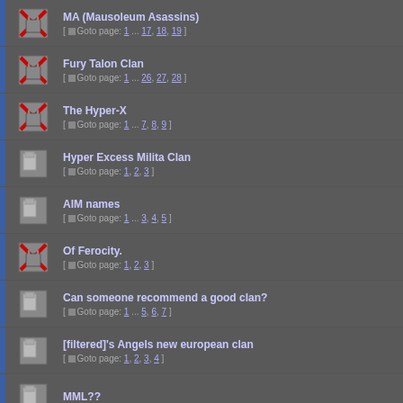MA (Mausoleum Asassins) [ Goto page: 1 ... 17, 18, 19 ]
Fury Talon Clan [ Goto page: 1 ... 26, 27, 28 ]
The Hyper-X [ Goto page: 1 ... 7, 8, 9 ]
Hyper Excess Milita Clan [ Goto page: 1, 2, 3 ]
AIM names [ Goto page: 1 ... 3, 4, 5 ]
Of Ferocity. [ Goto page: 1, 2, 3 ]
Can someone recommend a good clan? [ Goto page: 1 ... 5, 6, 7 ]
[filtered]'s Angels new european clan [ Goto page: 1, 2, 3, 4 ]
MML??
new clans? [ Goto page: 1 ... 7, 8, 9 ]
Elite disbanding? [ Goto page: 1 ... 3, 4, 5 ]
Who all is in Elite? [ Goto page: 1 ... 5, 6, 7 ]
the <ATL> european server
Do you have what it takes for the BEST clan? [ Goto page: 1 ... 11, 12, 13 ]
Open *Challenge* Daelia...